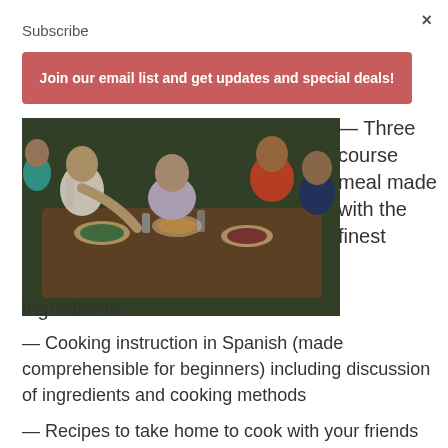×
Subscribe
Join our email list and get updates and special deals!
[Figure (photo): Group of people sitting around a table sharing a meal together, with multiple dishes visible on the table.]
— Three course meal made with the finest ingredients
— Cooking instruction in Spanish (made comprehensible for beginners) including discussion of ingredients and cooking methods
— Recipes to take home to cook with your friends